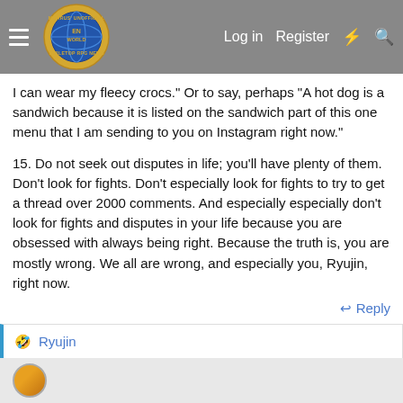Morrus' Unofficial Tabletop RPG News — Log in  Register
I can wear my fleecy crocs.” Or to say, perhaps “A hot dog is a sandwich because it is listed on the sandwich part of this one menu that I am sending to you on Instagram right now.”
15. Do not seek out disputes in life; you’ll have plenty of them. Don’t look for fights. Don’t especially look for fights to try to get a thread over 2000 comments. And especially especially don’t look for fights and disputes in your life because you are obsessed with always being right. Because the truth is, you are mostly wrong. We all are wrong, and especially you, Ryujin, right now.
↩ Reply
🤣 Ryujin